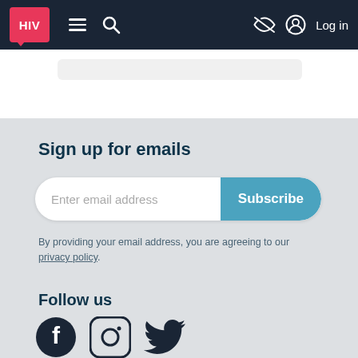HIV [logo] | menu | search | eye-off | Log in
Sign up for emails
Enter email address  Subscribe
By providing your email address, you are agreeing to our privacy policy.
Follow us
[Figure (illustration): Social media icons: Facebook, Instagram, Twitter]